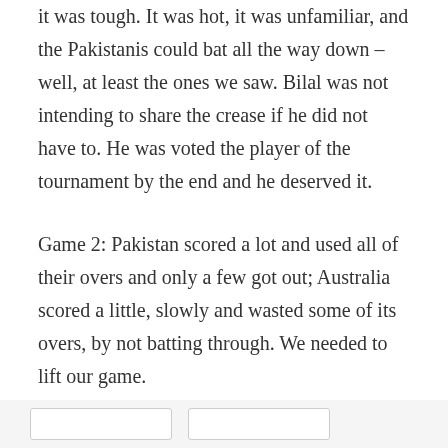it was tough. It was hot, it was unfamiliar, and the Pakistanis could bat all the way down – well, at least the ones we saw. Bilal was not intending to share the crease if he did not have to. He was voted the player of the tournament by the end and he deserved it.
Game 2: Pakistan scored a lot and used all of their overs and only a few got out; Australia scored a little, slowly and wasted some of its overs, by not batting through. We needed to lift our game.